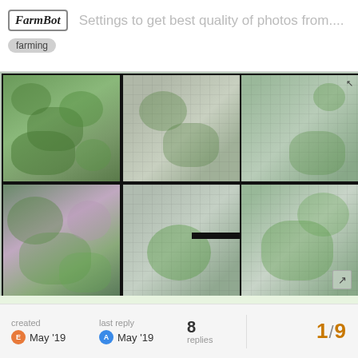Settings to get best quality of photos from....
[Figure (photo): Grid of 6 photo tiles showing plant/garden images taken by FarmBot camera, arranged in 3 columns × 2 rows. Some tiles show green foliage, others show grid-overlaid grayscale images.]
right now my camera is calibrated to take photos from the upper most Z axis position. What is the best practice to get better quality of photos?
created May '19  last reply May '19  8 replies  1/9